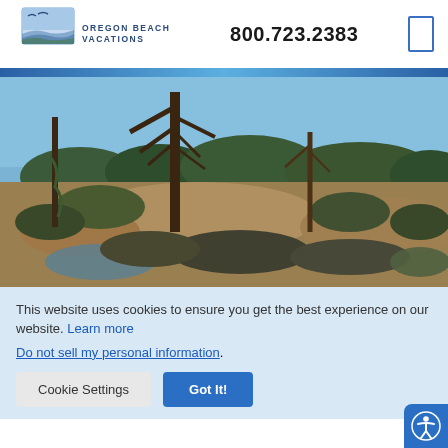[Figure (logo): Oregon Beach Vacations logo with stylized wave/landscape graphic and text]
800.723.2383
[Figure (photo): Outdoor landscape photo showing bare trees, shrubs, and dry grassland under a blue sky]
This website uses cookies to ensure you get the best experience on our website. Learn more
Do not sell my personal information.
Cookie Settings
Got It!